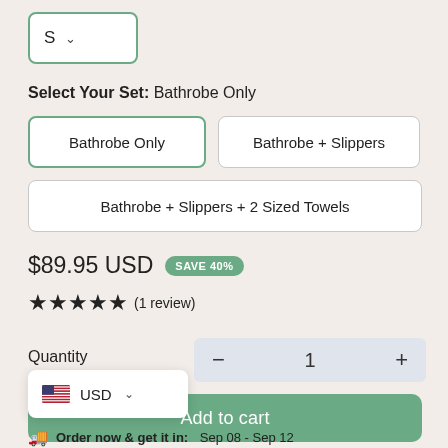S ˅
Select Your Set: Bathrobe Only
Bathrobe Only
Bathrobe + Slippers
Bathrobe + Slippers + 2 Sized Towels
$89.95 USD  SAVE 40%
★★★★★ (1 review)
Quantity  −  1  +
USD ˅
Add to cart
Order now & get it in: Sep 08 - Sep 12